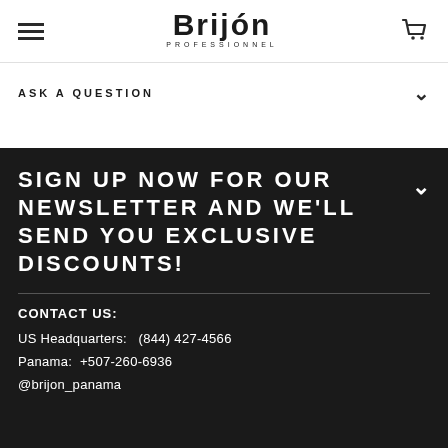[Figure (logo): Brijon Professionnel logo with hamburger menu icon on left and cart icon on right]
ASK A QUESTION
SIGN UP NOW FOR OUR NEWSLETTER AND WE'LL SEND YOU EXCLUSIVE DISCOUNTS!
CONTACT US:
US Headquarters:   (844) 427-4566
Panama:  +507-260-6936
@brijon_panama